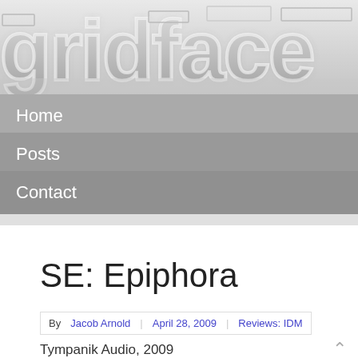[Figure (logo): gridface logo in large grey 3D block letters on a light grey gradient background]
Home
Posts
Contact
SE: Epiphora
By Jacob Arnold   April 28, 2009   Reviews: IDM
Tympanik Audio, 2009